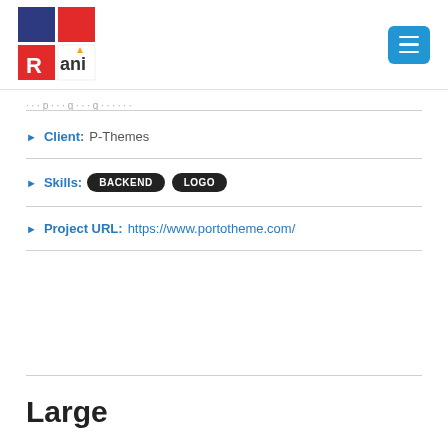Rani [logo] with hamburger menu button
Client: P-Themes
Skills: BACKEND LOGO
Project URL: https://www.portotheme.com/
Large